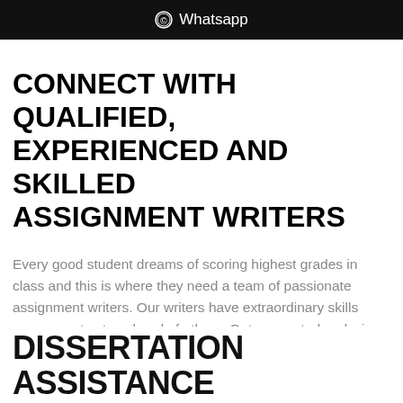Whatsapp
CONNECT WITH QUALIFIED, EXPERIENCED AND SKILLED ASSIGNMENT WRITERS
Every good student dreams of scoring highest grades in class and this is where they need a team of passionate assignment writers. Our writers have extraordinary skills necessary to stay ahead of others. Get connected and win the race.
[Figure (illustration): A silver and blue badge/seal with text 'PROTECTED' at top, '100% SECURE' in the middle, and 'PAYMENTS' at the bottom with stars.]
DISSERTATION ASSISTANCE